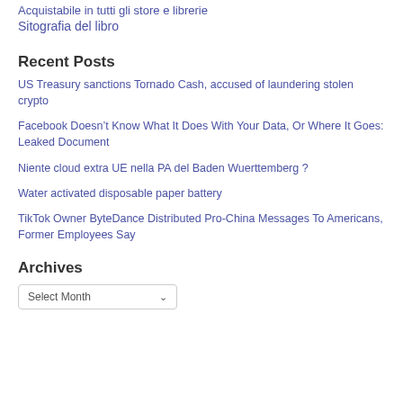Acquistabile in tutti gli store e librerie
Sitografia del libro
Recent Posts
US Treasury sanctions Tornado Cash, accused of laundering stolen crypto
Facebook Doesn’t Know What It Does With Your Data, Or Where It Goes: Leaked Document
Niente cloud extra UE nella PA del Baden Wuerttemberg ?
Water activated disposable paper battery
TikTok Owner ByteDance Distributed Pro-China Messages To Americans, Former Employees Say
Archives
Select Month